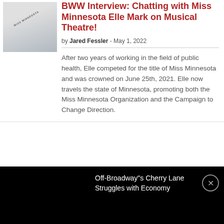[Figure (photo): Photo of Miss Minnesota Elle Mark wearing a sash, partial view]
BWW Interview: Chatting with Miss Minnesota Elle Mark on Musical Theatre!
by Jared Fessler - May 1, 2022
After two years of working in the field of public health, Elle competed for the title of Miss Minnesota and was crowned on June 25th, 2021. Elle now travels the state of Minnesota, promoting both the Miss Minnesota Organization and the Campaign to Change Direction.
Off-Broadway"s Cherry Lane Struggles with Economy